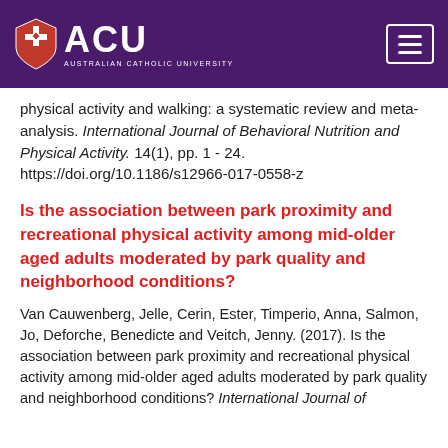ACU - Australian Catholic University
physical activity and walking: a systematic review and meta-analysis. International Journal of Behavioral Nutrition and Physical Activity. 14(1), pp. 1 - 24. https://doi.org/10.1186/s12966-017-0558-z
Is the association between park proximity and recreational physical activity among mid-older aged adults moderated by park quality and neighborhood conditions?
Van Cauwenberg, Jelle, Cerin, Ester, Timperio, Anna, Salmon, Jo, Deforche, Benedicte and Veitch, Jenny. (2017). Is the association between park proximity and recreational physical activity among mid-older aged adults moderated by park quality and neighborhood conditions? International Journal of